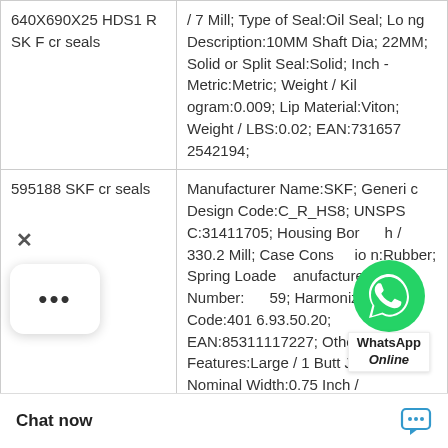| Product | Description |
| --- | --- |
| 640X690X25 HDS1 R SKF cr seals | / 7 Mill; Type of Seal:Oil Seal; Long Description:10MM Shaft Dia; 22MM; Solid or Split Seal:Solid; Inch - Metric:Metric; Weight / Kilogram:0.009; Lip Material:Viton; Weight / LBS:0.02; EAN:7316572542194; |
| 595188 SKF cr seals | Manufacturer Name:SKF; Generic Design Code:C_R_HS8; UNSPSC:31411705; Housing Bore / 330.2 Mill; Case Construction:Rubber; Spring Loaded Manufacturer Item Number:595259; Harmonized Tariff Code:4016.93.50.20; EAN:85311117227; Other Features:Large / 1 Butt Joint; Nominal Width:0.75 Inch / |
|  | Noun:Seal; Inch - Metric:Inch; Weight / LBS:0.072; Lip Retainer:Garter; Category:O Diameter:1.125 In |
[Figure (other): WhatsApp Online chat button overlay with green WhatsApp icon and 'WhatsApp Online' label]
[Figure (other): Chat popup with close (X) button and more options (...) menu]
Chat now